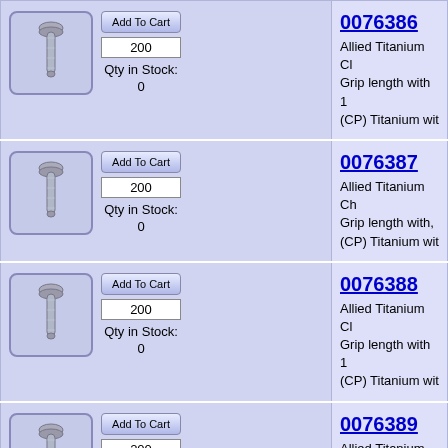| Product Image / Add to Cart | Product Info |
| --- | --- |
| [bolt image] Add To Cart | 200 | Qty in Stock: 0 | 0076386
Allied Titanium Cl Grip length with 1 (CP) Titanium wit |
| [bolt image] Add To Cart | 200 | Qty in Stock: 0 | 0076387
Allied Titanium Ch Grip length with, (CP) Titanium wit |
| [bolt image] Add To Cart | 200 | Qty in Stock: 0 | 0076388
Allied Titanium Cl Grip length with 1 (CP) Titanium wit |
| [bolt image] Add To Cart | 200 | Qty in Stock: 0 | 0076389
Allied Titanium Cl 11/16 Grip length Grade 2 (CP) Tita Finish |
| [bolt image] Add To Cart | 0076390 |